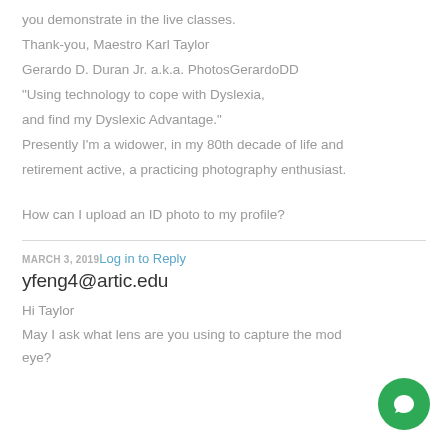you demonstrate in the live classes.
Thank-you, Maestro Karl Taylor
Gerardo D. Duran Jr. a.k.a. PhotosGerardoDD
"Using technology to cope with Dyslexia, and find my Dyslexic Advantage."
Presently I'm a widower, in my 80th decade of life and retirement active, a practicing photography enthusiast.

How can I upload an ID photo to my profile?
MARCH 3, 2019 Log in to Reply
yfeng4@artic.edu
Hi Taylor
May I ask what lens are you using to capture the mod... eye?